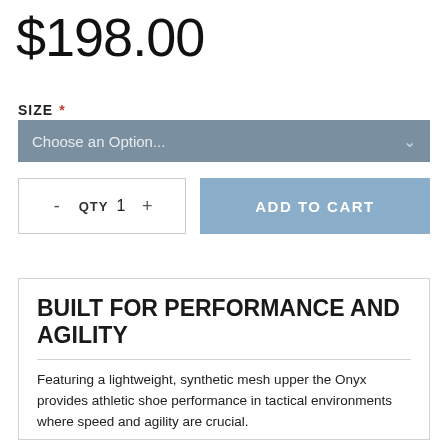$198.00
SIZE *
Choose an Option...
- QTY 1 +
ADD TO CART
BUILT FOR PERFORMANCE AND AGILITY
Featuring a lightweight, synthetic mesh upper the Onyx provides athletic shoe performance in tactical environments where speed and agility are crucial.